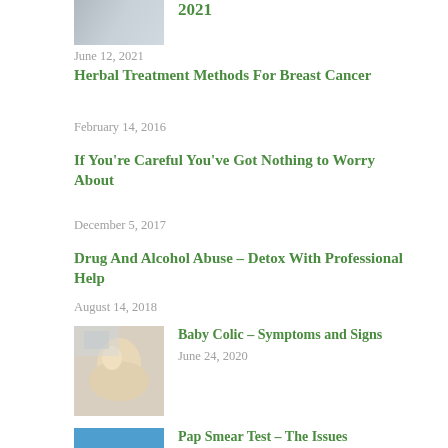2021
June 12, 2021
Herbal Treatment Methods For Breast Cancer
February 14, 2016
If You're Careful You've Got Nothing to Worry About
December 5, 2017
Drug And Alcohol Abuse – Detox With Professional Help
August 14, 2018
[Figure (photo): Baby being held, infant with eyes closed]
Baby Colic – Symptoms and Signs
June 24, 2020
[Figure (photo): Medical scissors/scalpel on blue background]
Pap Smear Test – The Issues